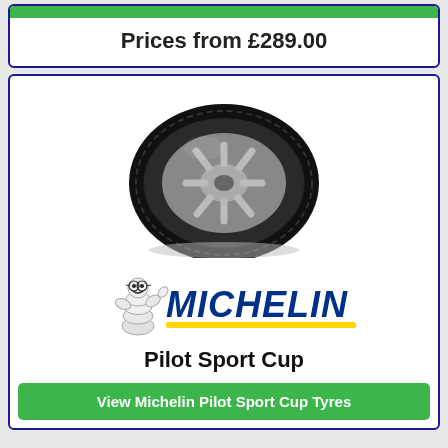Prices from £289.00
[Figure (photo): Photo of a Michelin Pilot Sport Cup tyre with silver alloy wheel, viewed at an angle]
[Figure (logo): Michelin logo with Bibendum (Michelin Man) mascot and MICHELIN text in blue italic with yellow underline]
Pilot Sport Cup
View Michelin Pilot Sport Cup Tyres